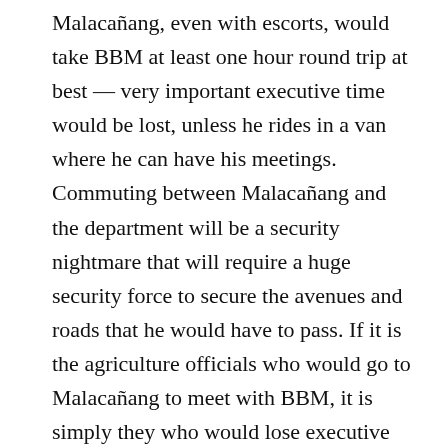Malacañang, even with escorts, would take BBM at least one hour round trip at best — very important executive time would be lost, unless he rides in a van where he can have his meetings. Commuting between Malacañang and the department will be a security nightmare that will require a huge security force to secure the avenues and roads that he would have to pass. If it is the agriculture officials who would go to Malacañang to meet with BBM, it is simply they who would lose executive time, and without escorts, of at least three hours.
Why not convince the vice president, Sara Duterte-Carpio, to instead be the agricultural secretary? As vice mayor and then mayor of Davao City, the urban center of a huge agricultural region, she would have